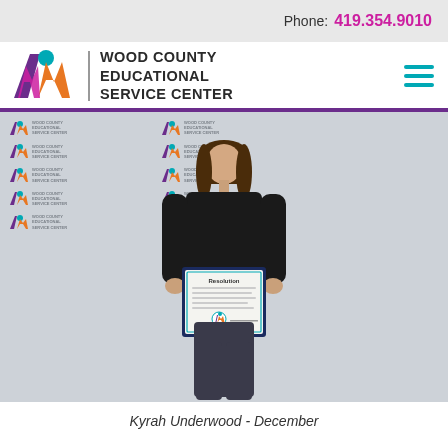Phone: 419.354.9010
[Figure (logo): Wood County Educational Service Center logo with colorful W shape and person icon]
WOOD COUNTY EDUCATIONAL SERVICE CENTER
[Figure (photo): Young woman in black outfit smiling and holding a framed Resolution certificate in front of a Wood County Educational Service Center branded backdrop]
Kyrah Underwood - December